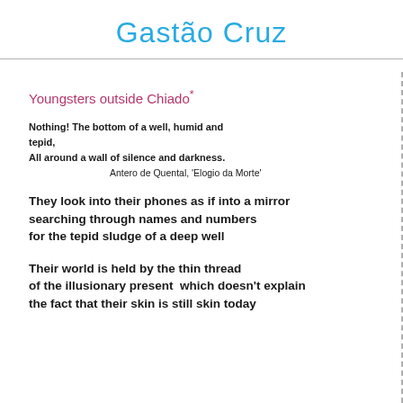Gastão Cruz
Youngsters outside Chiado*
Nothing! The bottom of a well, humid and tepid,
All around a wall of silence and darkness.
    Antero de Quental, 'Elogio da Morte'
They look into their phones as if into a mirror
searching through names and numbers
for the tepid sludge of a deep well
Their world is held by the thin thread
of the illusionary present  which doesn't explain
the fact that their skin is still skin today